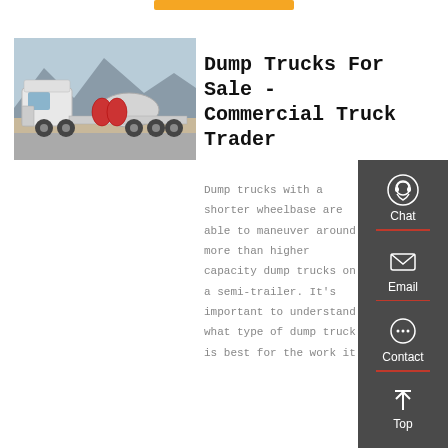[Figure (photo): Photo of a white commercial dump truck / tractor unit parked on pavement with mountains in background]
Dump Trucks For Sale - Commercial Truck Trader
Dump trucks with a shorter wheelbase are able to maneuver around more than higher capacity dump trucks on a semi-trailer. It's important to understand what type of dump truck is best for the work it